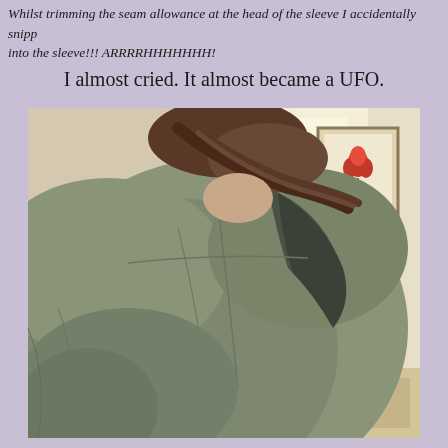Whilst trimming the seam allowance at the head of the sleeve I accidentally snipped into the sleeve!!! ARRRRHHHHHHH!
I almost cried. It almost became a UFO.
[Figure (photo): Close-up photo of a person's back/shoulder area wearing a light olive/sage green jacket or coat. The person has dark hair. A framed picture with a red flower is visible in the background, along with a bright window and what appears to be a light-colored room.]